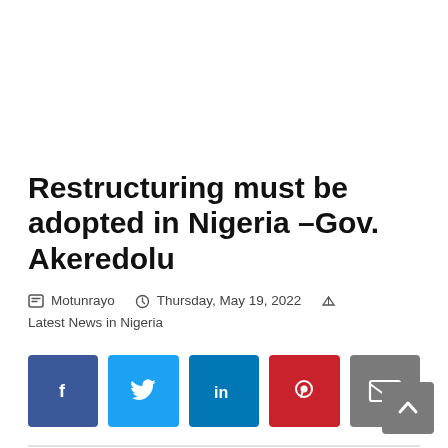Restructuring must be adopted in Nigeria –Gov. Akeredolu
Motunrayo  Thursday, May 19, 2022  Latest News in Nigeria
[Figure (other): Social media share buttons: Facebook, Twitter, LinkedIn, Pinterest, Email]
The Ondo State Governor, Mr. Rotimi